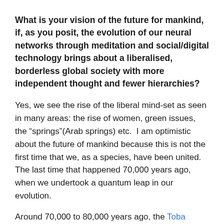What is your vision of the future for mankind, if, as you posit, the evolution of our neural networks through meditation and social/digital technology brings about a liberalised, borderless global society with more independent thought and fewer hierarchies?
Yes, we see the rise of the liberal mind-set as seen in many areas: the rise of women, green issues, the “springs”(Arab springs) etc.  I am optimistic about the future of mankind because this is not the first time that we, as a species, have been united.  The last time that happened 70,000 years ago, when we undertook a quantum leap in our evolution.
Around 70,000 to 80,000 years ago, the Toba super